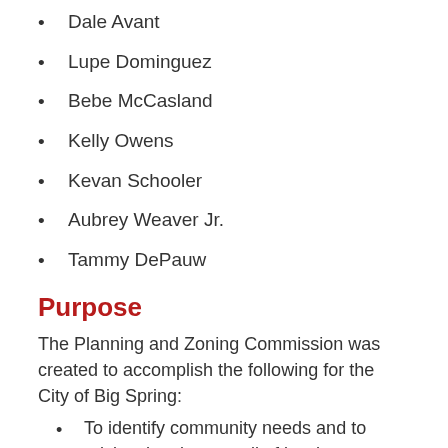Dale Avant
Lupe Dominguez
Bebe McCasland
Kelly Owens
Kevan Schooler
Aubrey Weaver Jr.
Tammy DePauw
Purpose
The Planning and Zoning Commission was created to accomplish the following for the City of Big Spring:
To identify community needs and to advise the city council of its short-range and long-range implications for the total development of the city